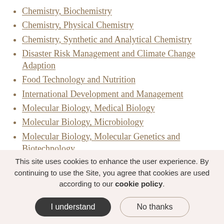Chemistry, Biochemistry
Chemistry, Physical Chemistry
Chemistry, Synthetic and Analytical Chemistry
Disaster Risk Management and Climate Change Adaption
Food Technology and Nutrition
International Development and Management
Molecular Biology, Medical Biology
Molecular Biology, Microbiology
Molecular Biology, Molecular Genetics and Biotechnology
This site uses cookies to enhance the user experience. By continuing to use the Site, you agree that cookies are used according to our cookie policy.